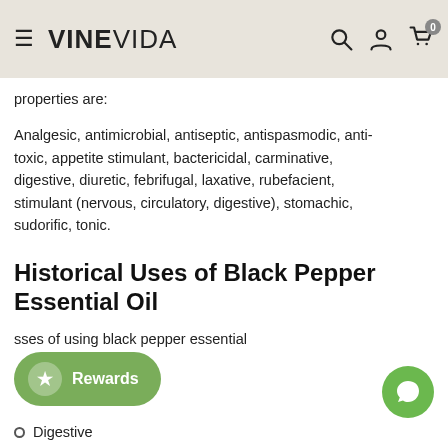VINEVIDA
properties are:
Analgesic, antimicrobial, antiseptic, antispasmodic, anti-toxic, appetite stimulant, bactericidal, carminative, digestive, diuretic, febrifugal, laxative, rubefacient, stimulant (nervous, circulatory, digestive), stomachic, sudorific, tonic.
Historical Uses of Black Pepper Essential Oil
sses of using black pepper essential
Digestive